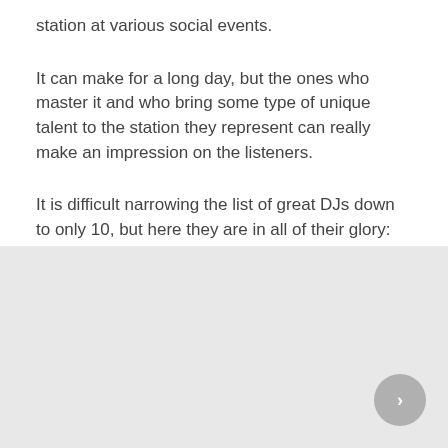station at various social events.
It can make for a long day, but the ones who master it and who bring some type of unique talent to the station they represent can really make an impression on the listeners.
It is difficult narrowing the list of great DJs down to only 10, but here they are in all of their glory:
[Figure (other): Gray background area with a circular navigation button in the bottom right corner]